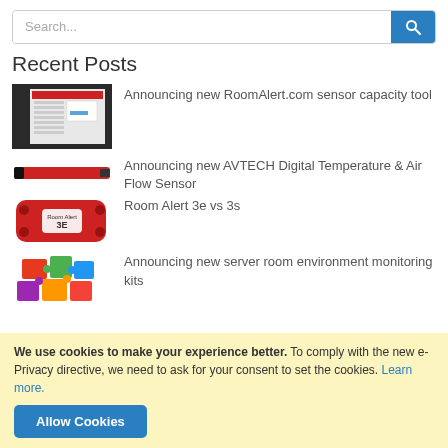Search...
Recent Posts
Announcing new RoomAlert.com sensor capacity tool
Announcing new AVTECH Digital Temperature & Air Flow Sensor
Room Alert 3e vs 3s
Announcing new server room environment monitoring kits
We use cookies to make your experience better. To comply with the new e-Privacy directive, we need to ask for your consent to set the cookies. Learn more.
Allow Cookies